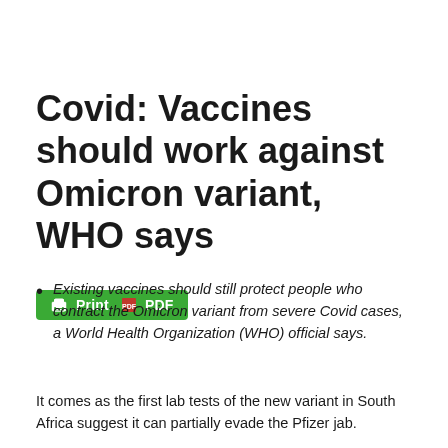Covid: Vaccines should work against Omicron variant, WHO says
[Figure (other): Green Print PDF button with printer icon and PDF icon]
Existing vaccines should still protect people who contract the Omicron variant from severe Covid cases, a World Health Organization (WHO) official says.
It comes as the first lab tests of the new variant in South Africa suggest it can partially evade the Pfizer jab.